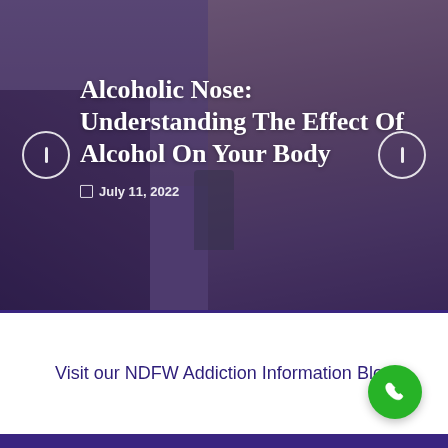[Figure (photo): Hero image of a woman sitting in a therapy session, looking thoughtful with hand near chin, with a purple/indigo overlay tint. Two circular navigation arrows visible on left and right sides.]
Alcoholic Nose: Understanding The Effect Of Alcohol On Your Body
July 11, 2022
Visit our NDFW Addiction Information Blog